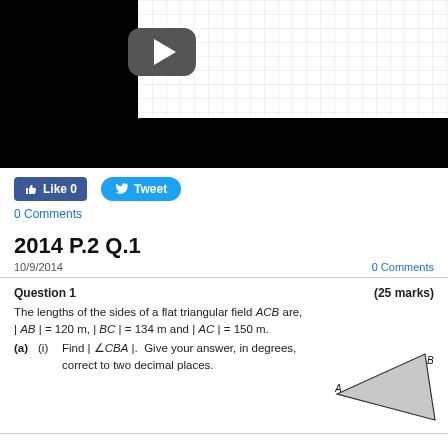[Figure (screenshot): Video thumbnail showing a grid/graph paper background with a YouTube-style play button in the center, black borders on left and bottom]
Like 0
Tweet
0 Comments
2014 P.2 Q.1
10/9/2014
0 Comments
Question 1   (25 marks)
The lengths of the sides of a flat triangular field ACB are, | AB | = 120 m, | BC | = 134 m and | AC | = 150 m.
(a) (i) Find | ∠CBA |. Give your answer, in degrees, correct to two decimal places.
[Figure (engineering-diagram): Triangle ACB with vertex A on the left, B on the upper right, and C at the lower right, shaded grey interior]